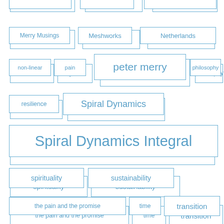[Figure (infographic): Tag cloud / word cloud with various topic tags in blue outlined boxes at different font sizes arranged on a white background. Tags include: Merry Musings, Meshworks, Netherlands, non-linear, pain, peter merry, philosophy, resilience, Spiral Dynamics, Spiral Dynamics Integral, spirituality, sustainability, the pain and the promise, time, transition, transitions, trauma, Ubiquity University, volution, volution theory]